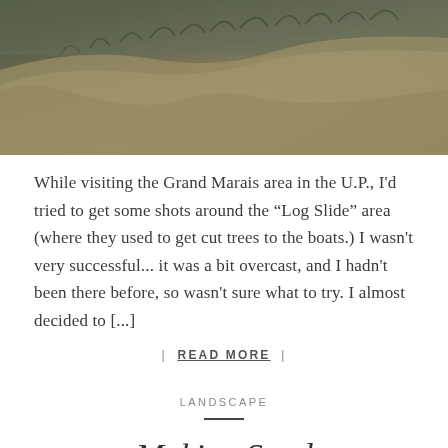[Figure (photo): Landscape photo showing a sand dune with sparse grass vegetation at the top, taken at the Log Slide area near Grand Marais in the Upper Peninsula of Michigan. The dune face is tan/beige with green scrub at the crest. Overcast lighting.]
While visiting the Grand Marais area in the U.P., I'd tried to get some shots around the “Log Slide” area (where they used to get cut trees to the boats.) I wasn't very successful... it was a bit overcast, and I hadn't been there before, so wasn't sure what to try. I almost decided to [...]
| READ MORE |
LANDSCAPE
Making Sand